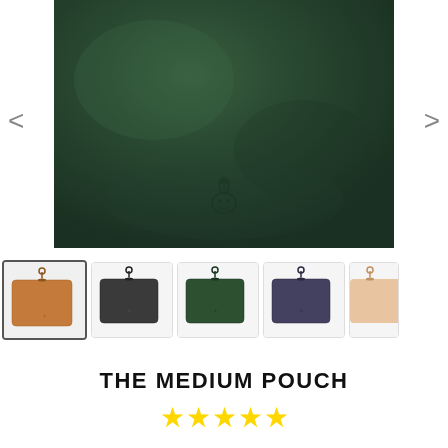[Figure (photo): Close-up of dark green leather pouch with embossed brand logo at the bottom center. The leather has a textured, natural grain appearance. Navigation arrows on left and right sides.]
[Figure (photo): Row of five thumbnail images showing the medium pouch in different colors: tan/cognac (selected, with border), dark grey/charcoal, forest green, navy/dark blue, and nude/natural tan.]
THE MEDIUM POUCH
[Figure (other): Five gold star rating icons]